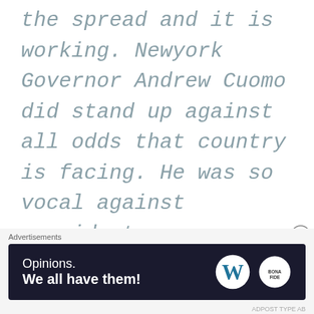the spread and it is working. Newyork Governor Andrew Cuomo did stand up against all odds that country is facing. He was so vocal against president.

I just want to say again. Thank you for doing what you all did. We need leaders like you. Hope we will see manu more Female leaders in the
Advertisements
[Figure (other): Advertisement banner with dark navy background. Left side shows text 'Opinions. We all have them!' in white. Right side shows WordPress W logo and a second circular logo with 'BONA FIDE' text.]